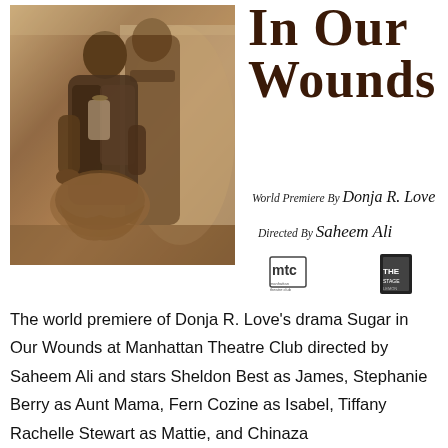[Figure (photo): Sepia-toned historical photograph showing two men, one seated and one standing, in period clothing. The image appears to be from the late 19th or early 20th century.]
IN OUR WOUNDS
World Premiere By Donja R. Love
Directed By Saheem Ali
[Figure (logo): MTC Manhattan Theatre Club logo]
[Figure (logo): Secondary logo on right side]
The world premiere of Donja R. Love's drama Sugar in Our Wounds at Manhattan Theatre Club directed by Saheem Ali and stars Sheldon Best as James, Stephanie Berry as Aunt Mama, Fern Cozine as Isabel, Tiffany Rachelle Stewart as Mattie, and Chinaza